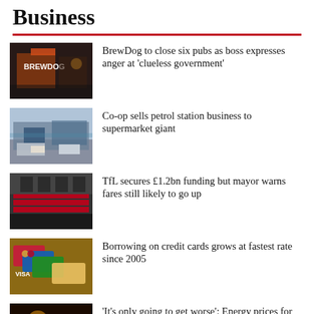Business
BrewDog to close six pubs as boss expresses anger at ‘clueless government’
Co-op sells petrol station business to supermarket giant
TfL secures £1.2bn funding but mayor warns fares still likely to go up
Borrowing on credit cards grows at fastest rate since 2005
‘It’s only going to get worse’: Energy prices for pubs and businesses to th…